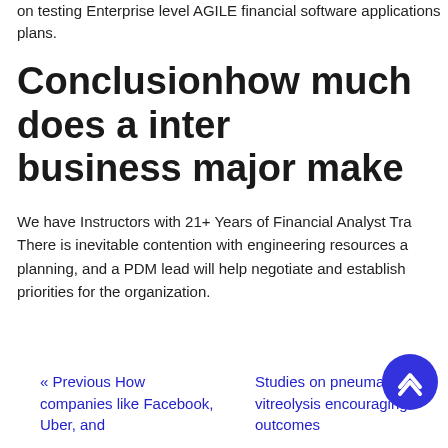on testing Enterprise level AGILE financial software applications plans.
Conclusionhow much does a international business major make
We have Instructors with 21+ Years of Financial Analyst Training. There is inevitable contention with engineering resources and planning, and a PDM lead will help negotiate and establish priorities for the organization.
« Previous How companies like Facebook, Uber, and
Studies on pneumatic vitreolysis encouraging outcomes